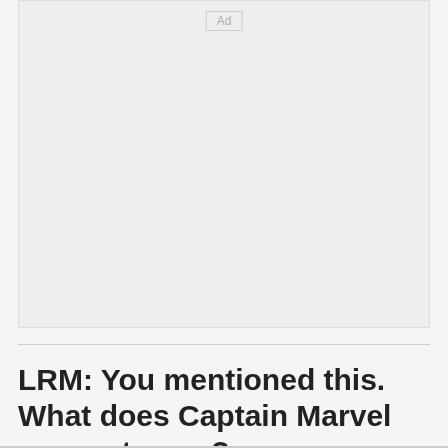[Figure (other): Advertisement placeholder box with 'Ad' label in top center]
LRM: You mentioned this. What does Captain Marvel means to you?